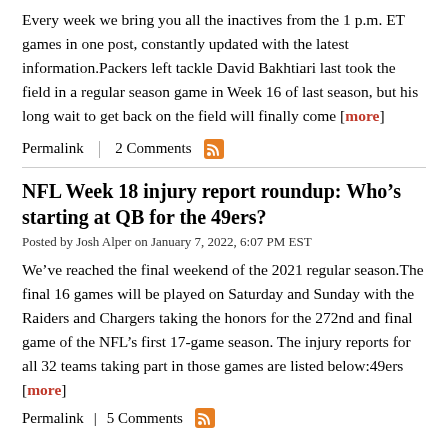Every week we bring you all the inactives from the 1 p.m. ET games in one post, constantly updated with the latest information.Packers left tackle David Bakhtiari last took the field in a regular season game in Week 16 of last season, but his long wait to get back on the field will finally come [more]
Permalink | 2 Comments
NFL Week 18 injury report roundup: Who's starting at QB for the 49ers?
Posted by Josh Alper on January 7, 2022, 6:07 PM EST
We've reached the final weekend of the 2021 regular season.The final 16 games will be played on Saturday and Sunday with the Raiders and Chargers taking the honors for the 272nd and final game of the NFL's first 17-game season. The injury reports for all 32 teams taking part in those games are listed below:49ers [more]
Permalink | 5 Comments